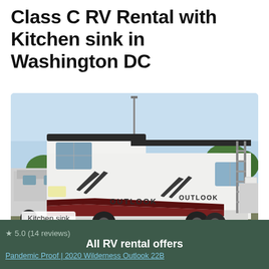Class C RV Rental with Kitchen sink in Washington DC
[Figure (photo): White Class C RV (Outlook brand) parked in a lot, photographed from the rear-left angle. Blue sky and trees visible in background. RV has dark red and black accent stripes and a ladder on the back.]
Kitchen sink
All RV rental offers
★ 5.0 (14 reviews)
Pandemic Proof | 2020 Wilderness Outlook 22B